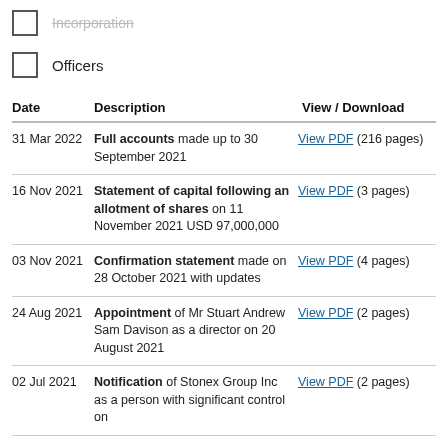Incorporation
Officers
| Date | Description | View / Download |
| --- | --- | --- |
| 31 Mar 2022 | Full accounts made up to 30 September 2021 | View PDF (216 pages) |
| 16 Nov 2021 | Statement of capital following an allotment of shares on 11 November 2021 USD 97,000,000 | View PDF (3 pages) |
| 03 Nov 2021 | Confirmation statement made on 28 October 2021 with updates | View PDF (4 pages) |
| 24 Aug 2021 | Appointment of Mr Stuart Andrew Sam Davison as a director on 20 August 2021 | View PDF (2 pages) |
| 02 Jul 2021 | Notification of Stonex Group Inc as a person with significant control on | View PDF (2 pages) |